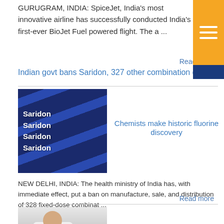GURUGRAM, INDIA: SpiceJet, India's most innovative airline has successfully conducted India's first-ever BioJet Fuel powered flight. The a ...
Read more
Indian govt bans Saridon, 327 other combination drugs
[Figure (photo): Photo of Saridon drug packaging with blue and white branding]
Chemists make historic fluorine discovery
NEW DELHI, INDIA: The health ministry of India has, with immediate effect, put a ban on manufacture, sale, and distribution of 328 fixed-dose combinat ...
Read more
[Figure (photo): Photo of a chemist or scientist working in a laboratory]